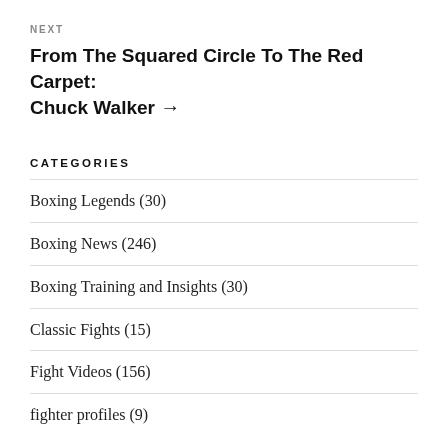NEXT
From The Squared Circle To The Red Carpet: Chuck Walker →
CATEGORIES
Boxing Legends (30)
Boxing News (246)
Boxing Training and Insights (30)
Classic Fights (15)
Fight Videos (156)
fighter profiles (9)